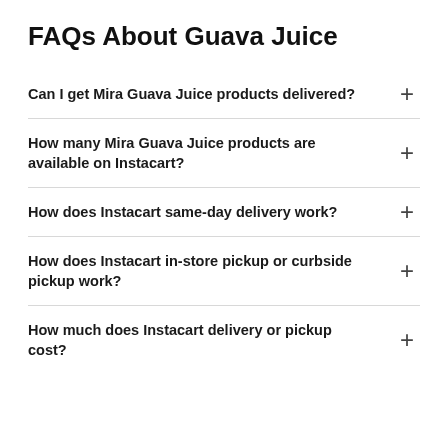FAQs About Guava Juice
Can I get Mira Guava Juice products delivered?
How many Mira Guava Juice products are available on Instacart?
How does Instacart same-day delivery work?
How does Instacart in-store pickup or curbside pickup work?
How much does Instacart delivery or pickup cost?